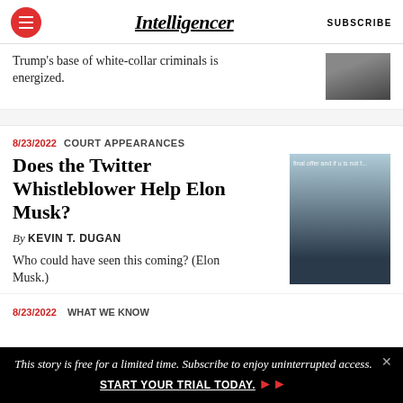Intelligencer | SUBSCRIBE
Trump's base of white-collar criminals is energized.
8/23/2022  COURT APPEARANCES
Does the Twitter Whistleblower Help Elon Musk?
By KEVIN T. DUGAN
Who could have seen this coming? (Elon Musk.)
This story is free for a limited time. Subscribe to enjoy uninterrupted access.  START YOUR TRIAL TODAY.